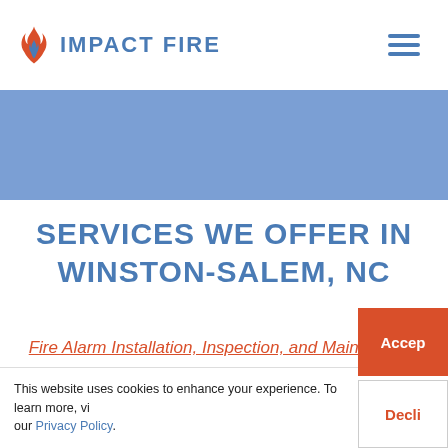IMPACT FIRE
[Figure (illustration): Blue and red flame logo for Impact Fire]
[Figure (other): Hamburger menu icon (three horizontal blue lines)]
[Figure (other): Blue/purple banner hero image area]
SERVICES WE OFFER IN WINSTON-SALEM, NC
Fire Alarm Installation, Inspection, and Maintenance
This website uses cookies to enhance your experience. To learn more, visit our Privacy Policy.
Accept
Decline